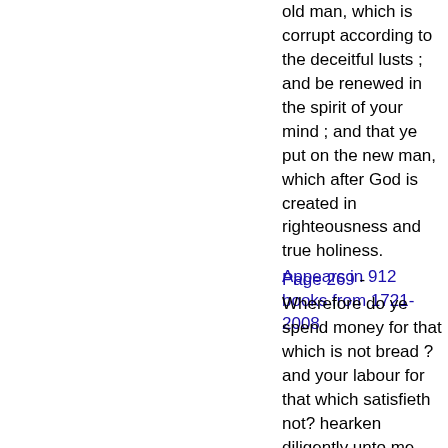old man, which is corrupt according to the deceitful lusts ; and be renewed in the spirit of your mind ; and that ye put on the new man, which after God is created in righteousness and true holiness.
Appears in 912 books from 1721-2008
Page 269 - Wherefore do ye spend money for that which is not bread ? and your labour for that which satisfieth not? hearken diligently unto me, and eat ye that which is good, and let your soul delight itself in fatness.
Appears in 851 books from 1714-2008